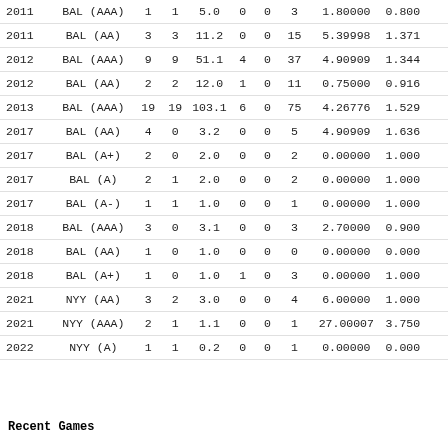| 2011 | BAL (AAA) | 1 | 1 | 5.0 | 0 | 0 | 3 | 1.80000 | 0.800… |
| 2011 | BAL (AA) | 3 | 3 | 11.2 | 0 | 0 | 15 | 5.39998 | 1.371… |
| 2012 | BAL (AAA) | 9 | 9 | 51.1 | 4 | 0 | 37 | 4.90909 | 1.344… |
| 2012 | BAL (AA) | 2 | 2 | 12.0 | 1 | 0 | 11 | 0.75000 | 0.916… |
| 2013 | BAL (AAA) | 19 | 19 | 103.1 | 6 | 0 | 75 | 4.26776 | 1.529… |
| 2017 | BAL (AA) | 4 | 0 | 3.2 | 0 | 0 | 5 | 4.90909 | 1.636… |
| 2017 | BAL (A+) | 2 | 0 | 2.0 | 0 | 0 | 2 | 0.00000 | 1.000… |
| 2017 | BAL (A) | 2 | 1 | 2.0 | 0 | 0 | 2 | 0.00000 | 1.000… |
| 2017 | BAL (A-) | 1 | 1 | 1.0 | 0 | 0 | 1 | 0.00000 | 1.000… |
| 2018 | BAL (AAA) | 3 | 0 | 3.1 | 0 | 0 | 3 | 2.70000 | 0.900… |
| 2018 | BAL (AA) | 1 | 0 | 1.0 | 0 | 0 | 0 | 0.00000 | 0.000… |
| 2018 | BAL (A+) | 1 | 0 | 1.0 | 1 | 0 | 3 | 0.00000 | 1.000… |
| 2021 | NYY (AA) | 3 | 2 | 3.0 | 0 | 0 | 4 | 6.00000 | 1.000… |
| 2021 | NYY (AAA) | 2 | 1 | 1.1 | 0 | 0 | 1 | 27.00007 | 3.750… |
| 2022 | NYY (A) | 1 | 1 | 0.2 | 0 | 0 | 1 | 0.00000 | 0.000… |
Recent Games